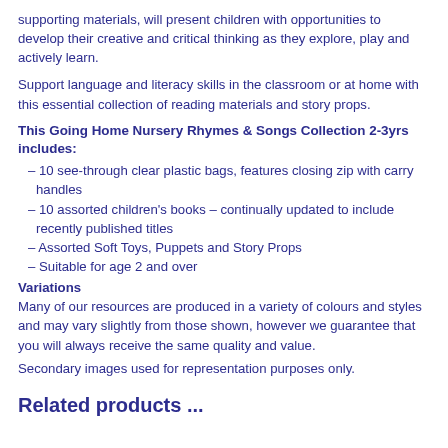supporting materials, will present children with opportunities to develop their creative and critical thinking as they explore, play and actively learn.
Support language and literacy skills in the classroom or at home with this essential collection of reading materials and story props.
This Going Home Nursery Rhymes & Songs Collection 2-3yrs includes:
– 10 see-through clear plastic bags, features closing zip with carry handles
– 10 assorted children's books – continually updated to include recently published titles
– Assorted Soft Toys, Puppets and Story Props
– Suitable for age 2 and over
Variations
Many of our resources are produced in a variety of colours and styles and may vary slightly from those shown, however we guarantee that you will always receive the same quality and value.
Secondary images used for representation purposes only.
Related products ...